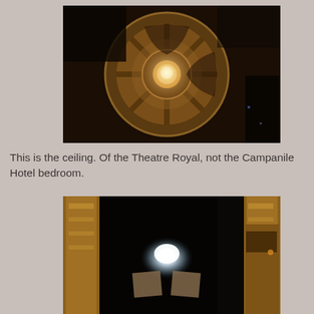[Figure (photo): Interior ceiling of Theatre Royal showing an ornate circular dome with decorative plasterwork, radiating panels, and a central chandelier light fixture glowing warmly against dark background.]
This is the ceiling.  Of the Theatre Royal, not the Campanile Hotel bedroom.
[Figure (photo): Interior view of Theatre Royal stage framed by ornate golden proscenium arch. The dark stage features a bright spotlight illuminating set pieces/props in the center, with theatre seating boxes visible on the right side.]